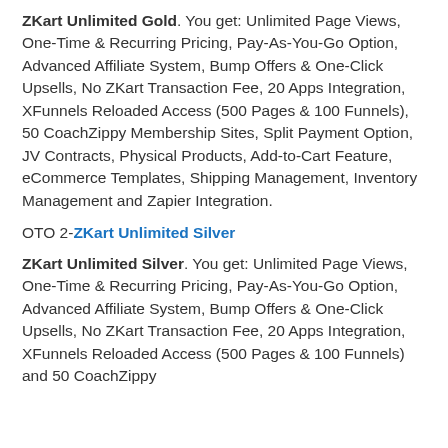ZKart Unlimited Gold. You get: Unlimited Page Views, One-Time & Recurring Pricing, Pay-As-You-Go Option, Advanced Affiliate System, Bump Offers & One-Click Upsells, No ZKart Transaction Fee, 20 Apps Integration, XFunnels Reloaded Access (500 Pages & 100 Funnels), 50 CoachZippy Membership Sites, Split Payment Option, JV Contracts, Physical Products, Add-to-Cart Feature, eCommerce Templates, Shipping Management, Inventory Management and Zapier Integration.
OTO 2-ZKart Unlimited Silver
ZKart Unlimited Silver. You get: Unlimited Page Views, One-Time & Recurring Pricing, Pay-As-You-Go Option, Advanced Affiliate System, Bump Offers & One-Click Upsells, No ZKart Transaction Fee, 20 Apps Integration, XFunnels Reloaded Access (500 Pages & 100 Funnels) and 50 CoachZippy